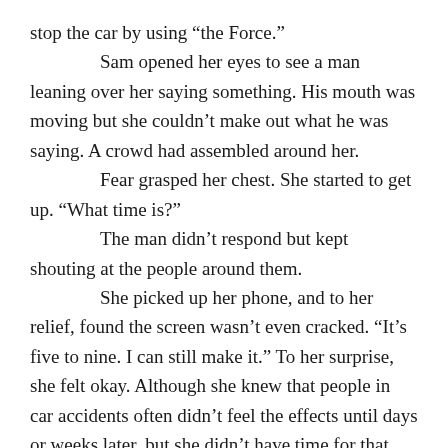stop the car by using “the Force.”

Sam opened her eyes to see a man leaning over her saying something. His mouth was moving but she couldn’t make out what he was saying. A crowd had assembled around her.

Fear grasped her chest. She started to get up. “What time is?”

The man didn’t respond but kept shouting at the people around them.

She picked up her phone, and to her relief, found the screen wasn’t even cracked. “It’s five to nine. I can still make it.” To her surprise, she felt okay. Although she knew that people in car accidents often didn’t feel the effects until days or weeks later, but she didn’t have time for that.